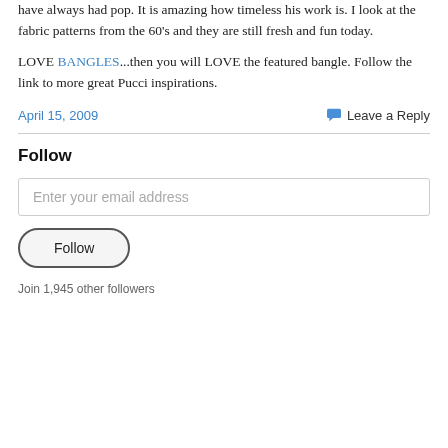have always had pop. It is amazing how timeless his work is. I look at the fabric patterns from the 60's and they are still fresh and fun today.
LOVE BANGLES...then you will LOVE the featured bangle. Follow the link to more great Pucci inspirations.
April 15, 2009
Leave a Reply
Follow
Enter your email address
Follow
Join 1,945 other followers